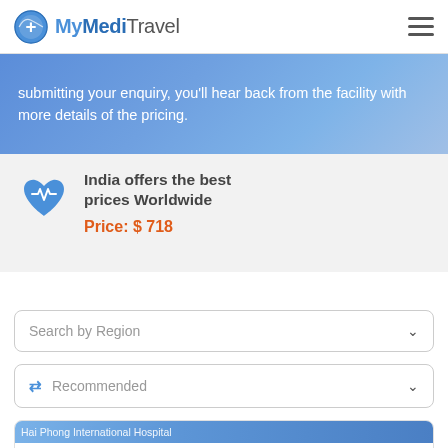MyMediTravel
submitting your enquiry, you'll hear back from the facility with more details of the pricing.
India offers the best prices Worldwide
Price: $ 718
Search by Region
Recommended
Hai Phong International Hospital
Hai Phong International Hospital
4.5